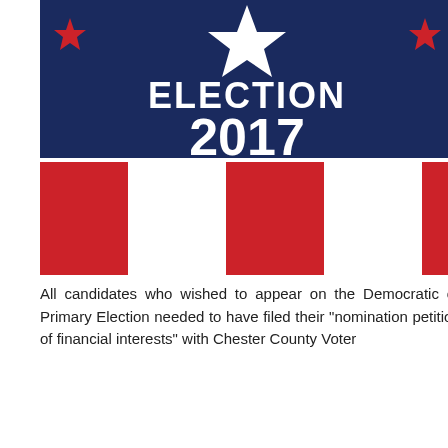[Figure (illustration): Election 2017 graphic with navy blue background, white star with red stars, text ELECTION 2017 in white, and red/white vertical stripes below]
Election campaign season is officially under way for Tredyffrin Township supervisor, TE School District directors and Magisterial District Judge candidates.
All candidates who wished to appear on the Democratic or Republican ballot in the Primary Election needed to have filed their "nomination petitions" along with a "statement of financial interests" with Chester County Voter